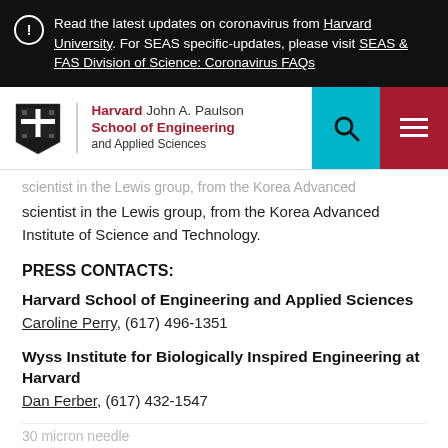Read the latest updates on coronavirus from Harvard University. For SEAS specific-updates, please visit SEAS & FAS Division of Science: Coronavirus FAQs
[Figure (logo): Harvard John A. Paulson School of Engineering and Applied Sciences logo with shield emblem, search button, and hamburger menu button]
scientist in the Lewis group, from the Korea Advanced Institute of Science and Technology.
PRESS CONTACTS:
Harvard School of Engineering and Applied Sciences
Caroline Perry, (617) 496-1351
Wyss Institute for Biologically Inspired Engineering at Harvard
Dan Ferber, (617) 432-1547
30 micron needle